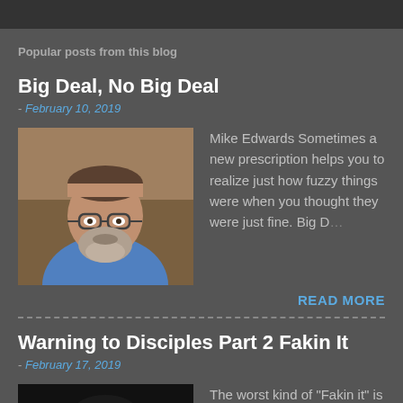Popular posts from this blog
Big Deal, No Big Deal
- February 10, 2019
[Figure (photo): Photo of Mike Edwards, a middle-aged man with glasses and a grey beard wearing a blue shirt]
Mike Edwards Sometimes a new prescription helps you to realize just how fuzzy things were when you thought they were just fine. Big D...
READ MORE
Warning to Disciples Part 2 Fakin It
- February 17, 2019
[Figure (photo): Partial photo, dark background with a person's face partially visible]
The worst kind of "Fakin it" is when we have